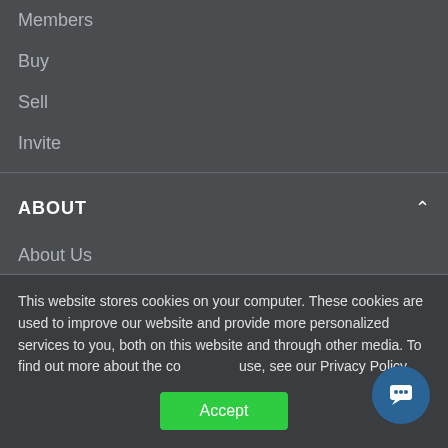Members
Buy
Sell
Invite
ABOUT
About Us
Team
Partners
Privacy
Press
This website stores cookies on your computer. These cookies are used to improve our website and provide more personalized services to you, both on this website and through other media. To find out more about the cookies we use, see our Privacy Policy.
Accept